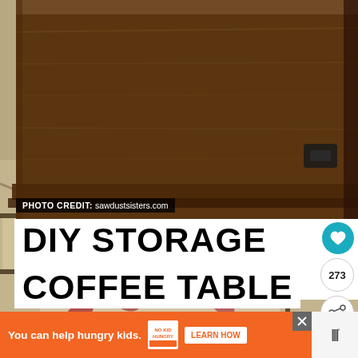[Figure (photo): A wooden DIY storage trunk coffee table sitting on a decorative tile floor with a leaf-patterned rug. The trunk is dark walnut stained wood with black metal hardware on the side.]
PHOTO CREDIT: sawdustsisters.com
DIY STORAGE TRUNK COFFEE TABLE
[Figure (infographic): Orange advertisement bar at bottom: 'You can help hungry kids.' with No Kid Hungry logo and LEARN HOW button]